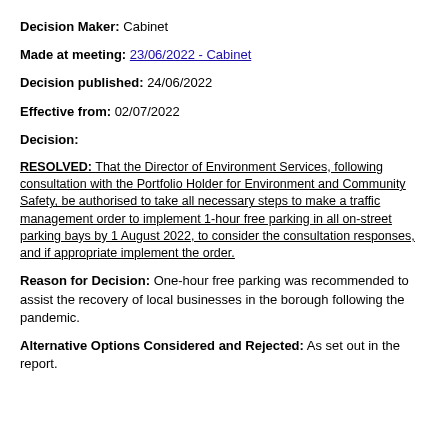Decision Maker: Cabinet
Made at meeting: 23/06/2022 - Cabinet
Decision published: 24/06/2022
Effective from: 02/07/2022
Decision:
RESOLVED: That the Director of Environment Services, following consultation with the Portfolio Holder for Environment and Community Safety, be authorised to take all necessary steps to make a traffic management order to implement 1-hour free parking in all on-street parking bays by 1 August 2022, to consider the consultation responses, and if appropriate implement the order.
Reason for Decision: One-hour free parking was recommended to assist the recovery of local businesses in the borough following the pandemic.
Alternative Options Considered and Rejected: As set out in the report.